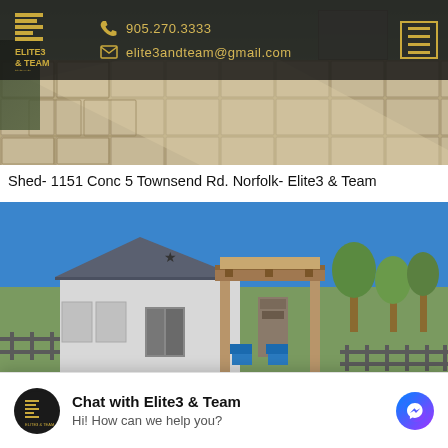[Figure (screenshot): Elite3 & Team real estate website header with logo, phone number 905.270.3333, email elite3andteam@gmail.com, and hamburger menu icon over a stone paving photo]
Shed- 1151 Conc 5 Townsend Rd. Norfolk- Elite3 & Team
[Figure (photo): Farm property with white barn and wooden pergola/gazebo structure with dark blue sky, trees in background]
[Figure (screenshot): Facebook Messenger chat widget: Chat with Elite3 & Team - Hi! How can we help you?]